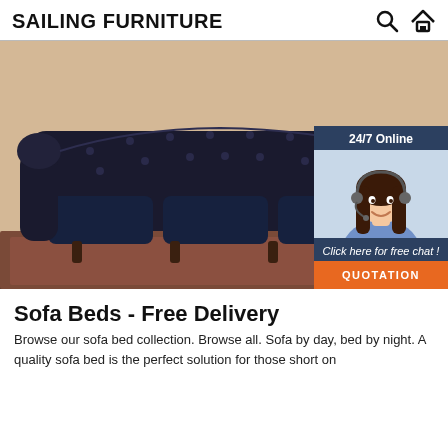SAILING FURNITURE
[Figure (photo): Large black tufted Chesterfield leather sofa displayed on a dark brown shag carpet against a beige wall, with a 24/7 online customer service chat widget overlay in the bottom right corner showing a smiling female agent with headset, text 'Click here for free chat!' and an orange QUOTATION button]
Sofa Beds - Free Delivery
Browse our sofa bed collection. Browse all. Sofa by day, bed by night. A quality sofa bed is the perfect solution for those short on